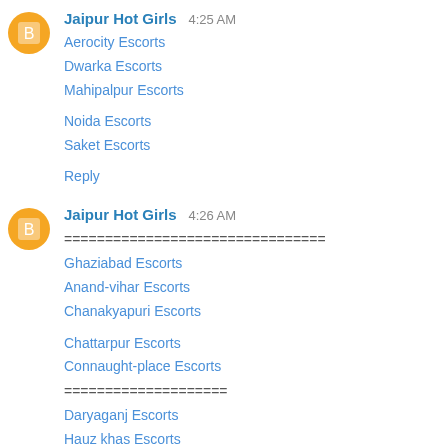Jaipur Hot Girls 4:25 AM
Aerocity Escorts
Dwarka Escorts
Mahipalpur Escorts
Noida Escorts
Saket Escorts
Reply
Jaipur Hot Girls 4:26 AM
================================
Ghaziabad Escorts
Anand-vihar Escorts
Chanakyapuri Escorts
Chattarpur Escorts
Connaught-place Escorts
====================
Daryaganj Escorts
Hauz khas Escorts